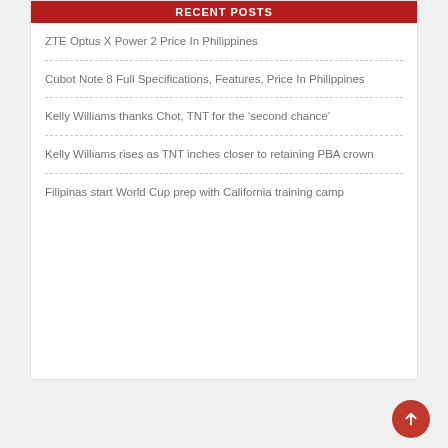Recent Posts
ZTE Optus X Power 2 Price In Philippines
Cubot Note 8 Full Specifications, Features, Price In Philippines
Kelly Williams thanks Chot, TNT for the ‘second chance’
Kelly Williams rises as TNT inches closer to retaining PBA crown
Filipinas start World Cup prep with California training camp